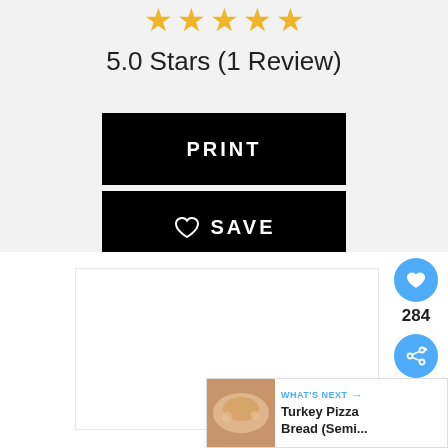[Figure (other): Five gold stars rating display]
5.0 Stars (1 Review)
[Figure (other): Black PRINT button]
[Figure (other): Black SAVE button with heart icon]
[Figure (other): Blue circular heart FAB icon with count 284 and share button]
284
[Figure (other): What's Next card: Turkey Pizza Bread (Semi... with thumbnail]